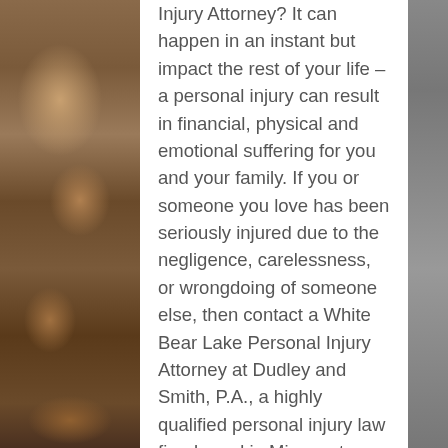[Figure (photo): Photo of an elderly person's arm/hand on the left side of the page, with a grey background on the right edge]
Injury Attorney? It can happen in an instant but impact the rest of your life – a personal injury can result in financial, physical and emotional suffering for you and your family. If you or someone you love has been seriously injured due to the negligence, carelessness, or wrongdoing of someone else, then contact a White Bear Lake Personal Injury Attorney at Dudley and Smith, P.A., a highly qualified personal injury law firm based in Minnesota .
Our White Bear Lake Personal Injury Attorneys represent clients that have sustained a serious injury, illness or whose family members are victims of wrongful death. Whether the accident was caused by the negligence of an individual, or the lack of care by a company or institution, you may have the right to compensation for your damages.